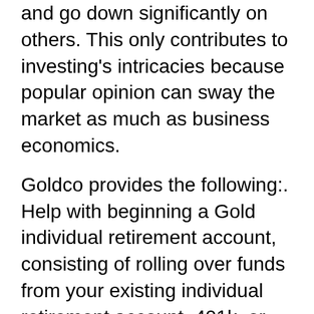and go down significantly on others. This only contributes to investing's intricacies because popular opinion can sway the market as much as business economics.
Goldco provides the following:. Help with beginning a Gold individual retirement account, consisting of rolling over funds from your existing individual retirement account, 401k, or 403 (b) retirement plan into a brand-new self-directed IRA.
Capacity to acquire high in demand gold and silver coins from IRS-approved mints.
Gold and silver bars are readily available from costs mints.